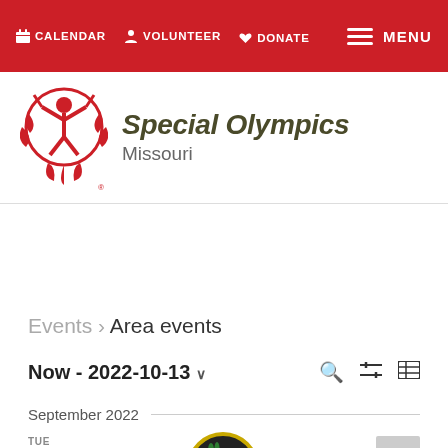CALENDAR  VOLUNTEER  DONATE  MENU
[Figure (logo): Special Olympics Missouri logo — red figure with arms raised inside a stylized wreath, with bold italic text 'Special Olympics Missouri']
Events › Area events
Now - 2022-10-13 ∨
September 2022
TUE
6